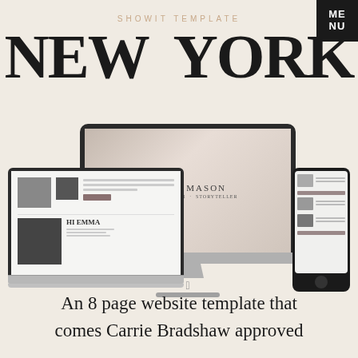SHOWIT TEMPLATE
NEW YORK
[Figure (screenshot): Mockup showing a website template called 'New York' displayed on a desktop monitor, laptop, and smartphone. The desktop shows 'EMMA MASON' branding with a soft editorial photo. The laptop and phone show blog/portfolio layout pages.]
An 8 page website template that comes Carrie Bradshaw approved
ME
NU